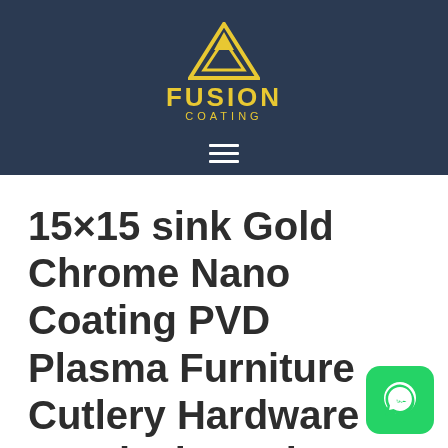[Figure (logo): Fusion Coating logo with yellow triangle/mountain graphic and text FUSION COATING on dark navy header background, with hamburger menu icon below]
15×15 sink Gold Chrome Nano Coating PVD Plasma Furniture Cutlery Hardware Surgical Coating